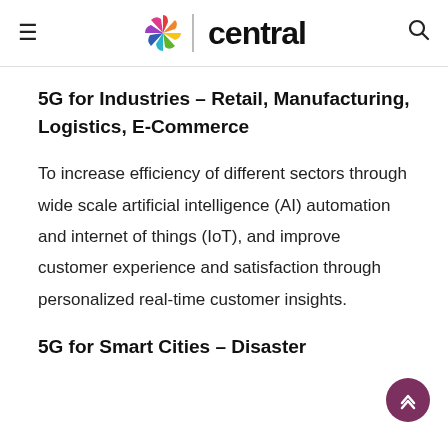≡  central  🔍
5G for Industries – Retail, Manufacturing, Logistics, E-Commerce
To increase efficiency of different sectors through wide scale artificial intelligence (AI) automation and internet of things (IoT), and improve customer experience and satisfaction through personalized real-time customer insights.
5G for Smart Cities – Disaster